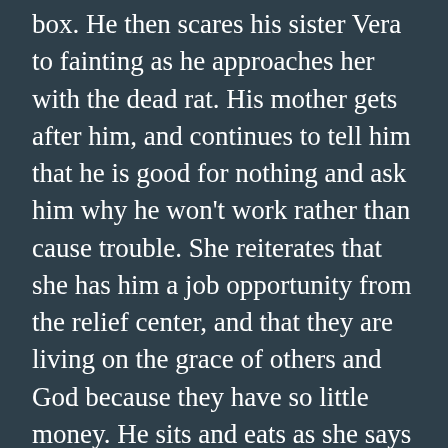box. He then scares his sister Vera to fainting as he approaches her with the dead rat. His mother gets after him, and continues to tell him that he is good for nothing and ask him why he won't work rather than cause trouble. She reiterates that she has him a job opportunity from the relief center, and that they are living on the grace of others and God because they have so little money. He sits and eats as she says this, and then asks for money. She gives him twenty five cents, and he heads out.
He knows his interview isn't until the evening, and he has time. He wants to do something, but doesn't have the money. So he goes to the pool house and waits for his crew to arrive: